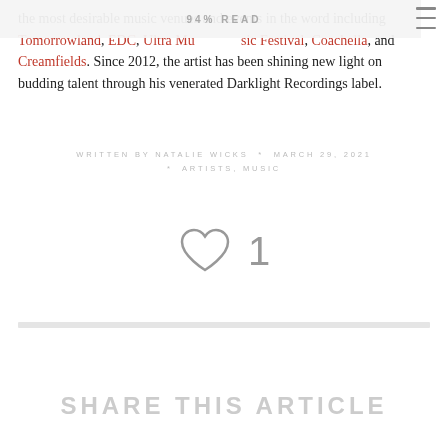94% READ
the most desirable music venues and events in the word including Tomorrowland, EDC, Ultra Music Festival, Coachella, and Creamfields. Since 2012, the artist has been shining new light on budding talent through his venerated Darklight Recordings label.
WRITTEN BY NATALIE WICKS * MARCH 29, 2021 * ARTISTS, MUSIC
[Figure (other): Heart/like icon with count of 1]
SHARE THIS ARTICLE